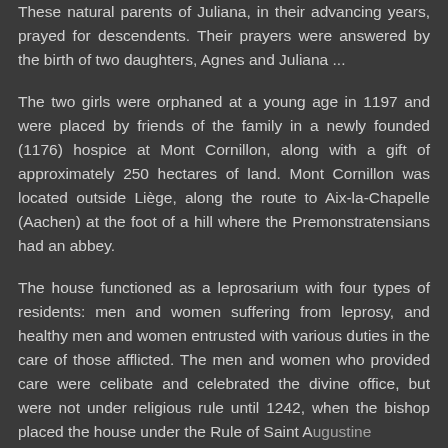These natural parents of Juliana, in their advancing years, prayed for descendents. Their prayers were answered by the birth of two daughters, Agnes and Juliana ...
The two girls were orphaned at a young age in 1197 and were placed by friends of the family in a newly founded (1176) hospice at Mont Cornillon, along with a gift of approximately 250 hectares of land. Mont Cornillon was located outside Liège, along the route to Aix-la-Chapelle (Aachen) at the foot of a hill where the Premonstratensians had an abbey.
The house functioned as a leprosarium with four types of residents: men and women suffering from leprosy, and healthy men and women entrusted with various duties in the care of those afflicted. The men and women who provided care were celibate and celebrated the divine office, but were not under religious rule until 1242, when the bishop placed the house under the Rule of Saint Augustine...